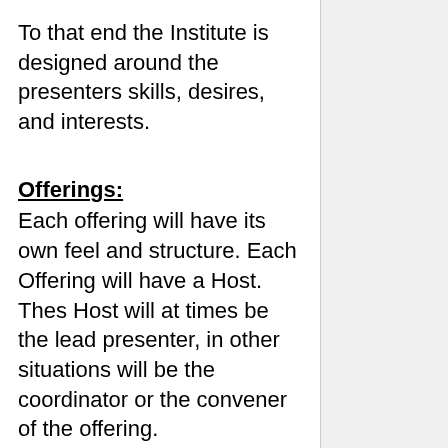To that end the Institute is designed around the presenters skills, desires, and interests.
Offerings:
Each offering will have its own feel and structure. Each Offering will have a Host. Thes Host will at times be the lead presenter, in other situations will be the coordinator or the convener of the offering.
Our hope is that the Host will create their offering so that they can be most effective for person to person interaction. That may well mean that some use a lecture/teaching format while others use